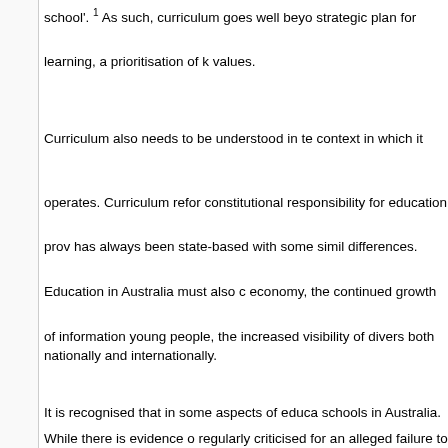school'. 1 As such, curriculum goes well beyond a strategic plan for learning, a prioritisation of knowledge and values.
Curriculum also needs to be understood in terms of the context in which it operates. Curriculum reform is a constitutional responsibility for education provision, which has always been state-based with some similarities and differences. Education in Australia must also consider the economy, the continued growth of information technology and young people, the increased visibility of diverse communities both nationally and internationally.
It is recognised that in some aspects of education and schools in Australia. While there is evidence of regularly criticised for an alleged failure to provide, driven by the tabloid media which seek to sense, landscape does display some signs of distress. These signs include the shift of students between, between high-performing and low-performing schools, national goals of schooling, the deteriorating issue of teacher shortages as the baby-boomer generation, estimated that each year 35,000 Australian students and will subsequently obtain no further formal education.
Within this context there are several key drivers
Globalisation